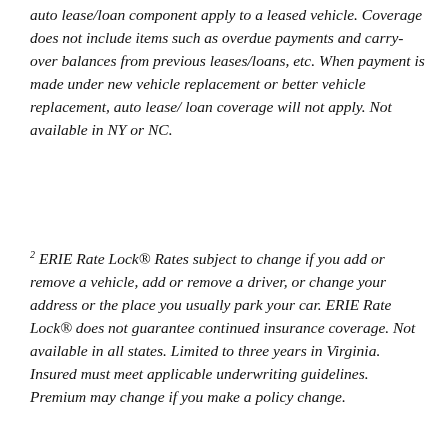auto lease/loan component apply to a leased vehicle. Coverage does not include items such as overdue payments and carry-over balances from previous leases/loans, etc. When payment is made under new vehicle replacement or better vehicle replacement, auto lease/ loan coverage will not apply. Not available in NY or NC.
2 ERIE Rate Lock® Rates subject to change if you add or remove a vehicle, add or remove a driver, or change your address or the place you usually park your car. ERIE Rate Lock® does not guarantee continued insurance coverage. Not available in all states. Limited to three years in Virginia. Insured must meet applicable underwriting guidelines. Premium may change if you make a policy change.